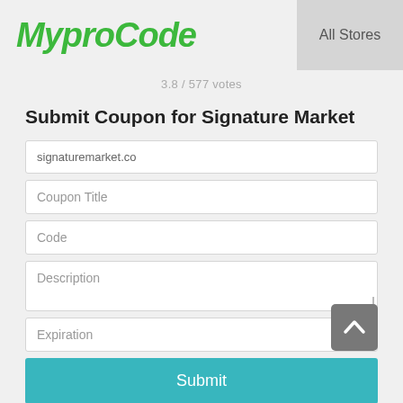MyproCode | All Stores
3.8 / 577 votes
Submit Coupon for Signature Market
signaturemarket.co
Coupon Title
Code
Description
Expiration
Submit